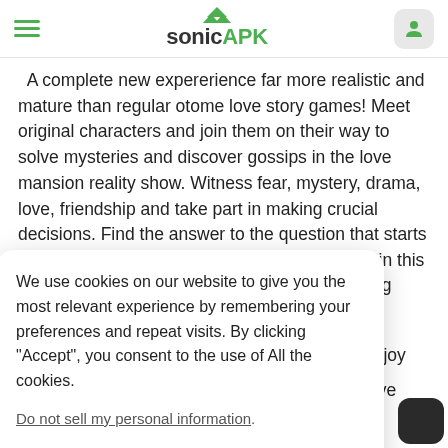sonicAPK
A complete new expererience far more realistic and mature than regular otome love story games! Meet original characters and join them on their way to solve mysteries and discover gossips in the love mansion reality show. Witness fear, mystery, drama, love, friendship and take part in making crucial decisions. Find the answer to the question that starts to affect the lives of you and all of your friends in this fantastic [...]ing and chatting [...] to you, and [...] or them! Enjoy [...] with the Love [...] laying our [...] tuations? If [...] tor game, or [...] the more mature [...]
We use cookies on our website to give you the most relevant experience by remembering your preferences and repeat visits. By clicking "Accept", you consent to the use of All the cookies. Do not sell my personal information. Manage Options | Ok I Agree